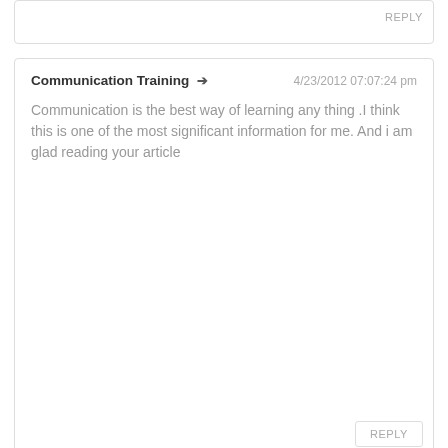REPLY
Communication Training → 4/23/2012 07:07:24 pm
Communication is the best way of learning any thing .I think this is one of the most significant information for me. And i am glad reading your article
REPLY
LEAVE A REPLY.
Name (required)
Email (not published)
Website